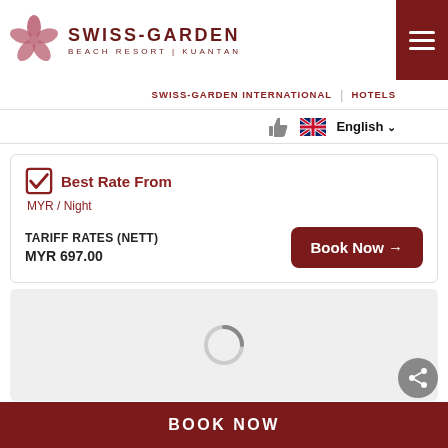[Figure (logo): Swiss-Garden Beach Resort Kuantan logo with flower icon and text]
SWISS-GARDEN INTERNATIONAL | HOTELS
English
Best Rate From
MYR / Night
TARIFF RATES (NETT)
MYR 697.00
Book Now →
[Figure (other): Loading spinner on grey background]
BOOK NOW